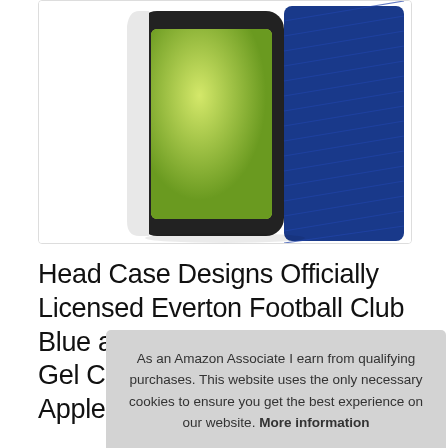[Figure (photo): Product photo of a blue and white phone case for iPhone 11, showing diagonal ribbed texture on the blue portion and a white section, with the phone screen visible showing a green background.]
Head Case Designs Officially Licensed Everton Football Club Blue and White CREST Soft Gel Case Compatible With Apple iPhone 11
As an Amazon Associate I earn from qualifying purchases. This website uses the only necessary cookies to ensure you get the best experience on our website. More information